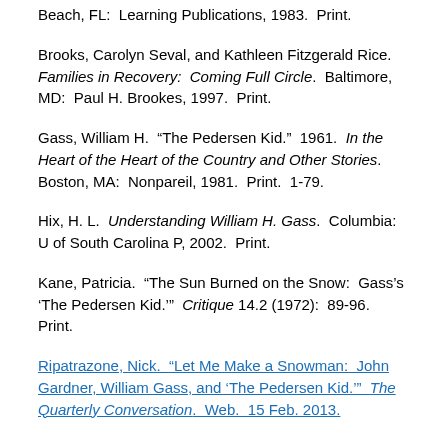Beach, FL:  Learning Publications, 1983.  Print.
Brooks, Carolyn Seval, and Kathleen Fitzgerald Rice.  Families in Recovery:  Coming Full Circle.  Baltimore, MD:  Paul H. Brookes, 1997.  Print.
Gass, William H.  “The Pedersen Kid.”  1961.  In the Heart of the Heart of the Country and Other Stories.  Boston, MA:  Nonpareil, 1981.  Print.  1-79.
Hix, H. L.  Understanding William H. Gass.  Columbia:  U of South Carolina P, 2002.  Print.
Kane, Patricia.  “The Sun Burned on the Snow:  Gass’s ‘The Pedersen Kid.’”  Critique 14.2 (1972):  89-96.  Print.
Ripatrazone, Nick.  “Let Me Make a Snowman:  John Gardner, William Gass, and ‘The Pedersen Kid.’”  The Quarterly Conversation.  Web.  15 Feb. 2013.